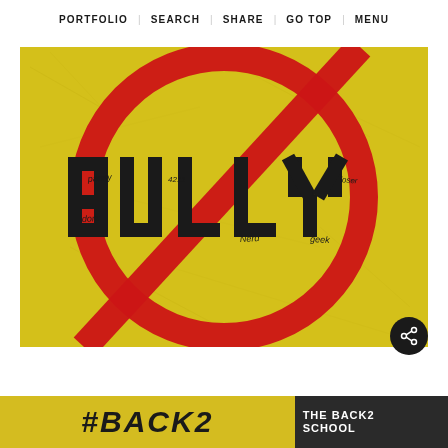PORTFOLIO   SEARCH   SHARE   GO TOP   MENU
[Figure (illustration): Anti-bullying poster on yellow textured background: a red 'no' circle-slash symbol overlaid on the word 'BULLY' in large black block letters, with smaller graffiti-style words written around it including 'pansy', 'dork', 'Nerd', 'loser', 'geek', '4211']
[Figure (illustration): Bottom strip showing partial text 'BACK2 SCHOOL' on yellow and dark backgrounds, partially cropped]